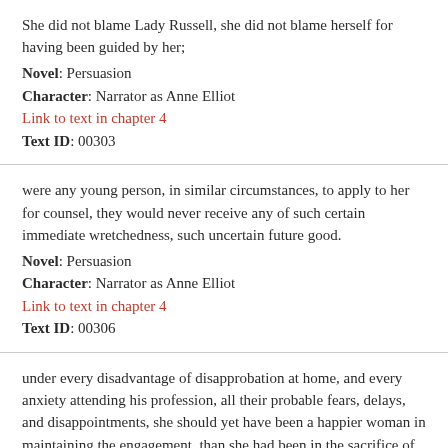She did not blame Lady Russell, she did not blame herself for having been guided by her;
Novel: Persuasion
Character: Narrator as Anne Elliot
Link to text in chapter 4
Text ID: 00303
were any young person, in similar circumstances, to apply to her for counsel, they would never receive any of such certain immediate wretchedness, such uncertain future good.
Novel: Persuasion
Character: Narrator as Anne Elliot
Link to text in chapter 4
Text ID: 00306
under every disadvantage of disapprobation at home, and every anxiety attending his profession, all their probable fears, delays, and disappointments, she should yet have been a happier woman in maintaining the engagement, than she had been in the sacrifice of it;